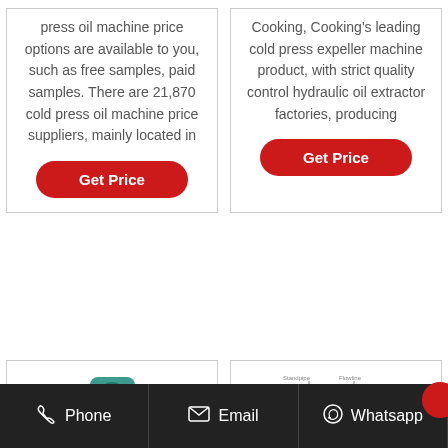press oil machine price options are available to you, such as free samples, paid samples. There are 21,870 cold press oil machine price suppliers, mainly located in
Get Price
Cooking, Cooking's leading cold press expeller machine product, with strict quality control hydraulic oil extractor factories, producing
Get Price
[Figure (photo): Product image thumbnail - teal/green mechanical part]
[Figure (schematic): Product image thumbnail - engineering diagram with labels]
Phone   Email   Whatsapp